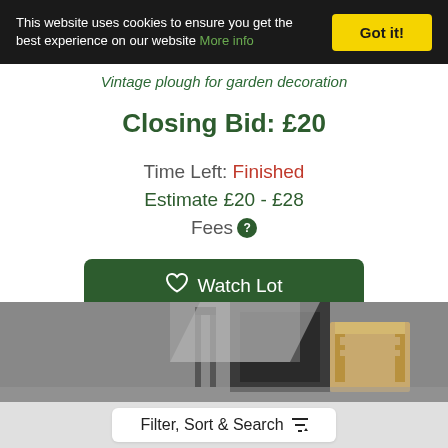This website uses cookies to ensure you get the best experience on our website More info
Vintage plough for garden decoration
Closing Bid: £20
Time Left: Finished
Estimate £20 - £28
Fees ?
Watch Lot
[Figure (photo): Photo of items including a plough and chairs in a room setting]
Filter, Sort & Search